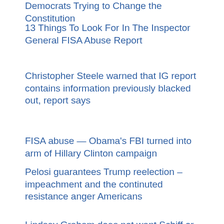Democrats Trying to Change the Constitution
13 Things To Look For In The Inspector General FISA Abuse Report
Christopher Steele warned that IG report contains information previously blacked out, report says
FISA abuse — Obama's FBI turned into arm of Hillary Clinton campaign
Pelosi guarantees Trump reelection – impeachment and the continuted resistance anger Americans
Lindsey Graham does not want Schiff or other Congressmen to testify at a Senate